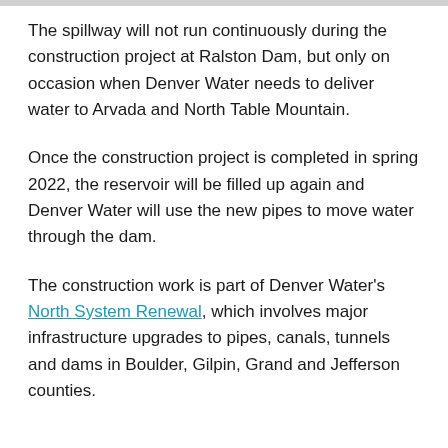The spillway will not run continuously during the construction project at Ralston Dam, but only on occasion when Denver Water needs to deliver water to Arvada and North Table Mountain.
Once the construction project is completed in spring 2022, the reservoir will be filled up again and Denver Water will use the new pipes to move water through the dam.
The construction work is part of Denver Water's North System Renewal, which involves major infrastructure upgrades to pipes, canals, tunnels and dams in Boulder, Gilpin, Grand and Jefferson counties.